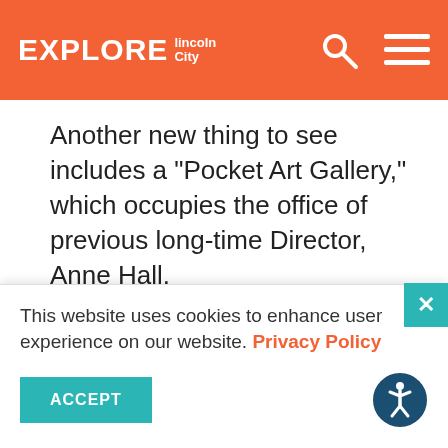EXPLORE Lincoln City
Another new thing to see includes a "Pocket Art Gallery," which occupies the office of previous long-time Director, Anne Hall.
This website uses cookies to enhance user experience on our website. Privacy Policy
ACCEPT